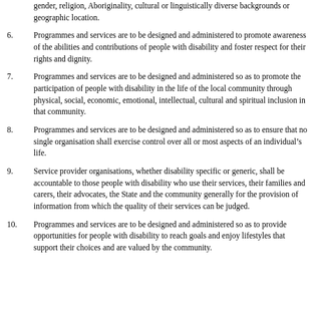gender, religion, Aboriginality, cultural or linguistically diverse backgrounds or geographic location.
6. Programmes and services are to be designed and administered to promote awareness of the abilities and contributions of people with disability and foster respect for their rights and dignity.
7. Programmes and services are to be designed and administered so as to promote the participation of people with disability in the life of the local community through physical, social, economic, emotional, intellectual, cultural and spiritual inclusion in that community.
8. Programmes and services are to be designed and administered so as to ensure that no single organisation shall exercise control over all or most aspects of an individual’s life.
9. Service provider organisations, whether disability specific or generic, shall be accountable to those people with disability who use their services, their families and carers, their advocates, the State and the community generally for the provision of information from which the quality of their services can be judged.
10. Programmes and services are to be designed and administered so as to provide opportunities for people with disability to reach goals and enjoy lifestyles that support their choices and are valued by the community.